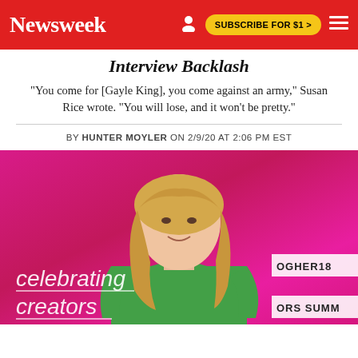Newsweek | SUBSCRIBE FOR $1 >
Interview Backlash
"You come for [Gayle King], you come against an army," Susan Rice wrote. "You will lose, and it won't be pretty."
BY HUNTER MOYLER ON 2/9/20 AT 2:06 PM EST
[Figure (photo): Woman with blonde hair wearing a green top, standing in front of a pink background with 'celebrating creators' text in neon white script and partial text 'OGHER18' and 'ORS SUMM' on white banners to the right]